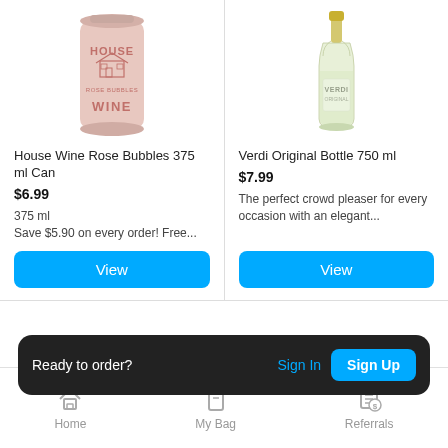[Figure (photo): House Wine Rose Bubbles 375 ml Can - pink aluminum can with 'House Wine' branding]
House Wine Rose Bubbles 375 ml Can
$6.99
375 ml
Save $5.90 on every order! Free...
[Figure (photo): Verdi Original Bottle 750 ml - clear glass sparkling wine bottle with gold cap]
Verdi Original Bottle 750 ml
$7.99
The perfect crowd pleaser for every occasion with an elegant...
Ready to order?  Sign In  Sign Up
Home  My Bag  Referrals